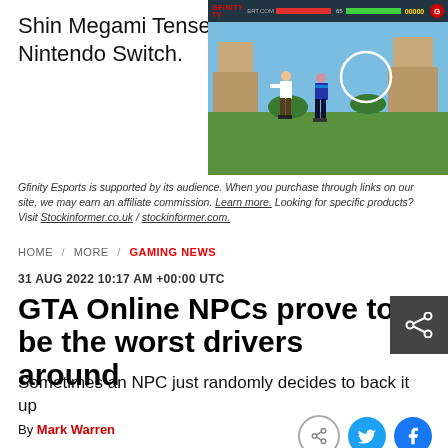Shin Megami Tensei 5 released on Nintendo Switch.
[Figure (screenshot): Video game screenshot showing two fighting game characters in combat, with a HUD overlay showing health bars and a score. Gfinity TV / Ert.com branding visible.]
Gfinity Esports is supported by its audience. When you purchase through links on our site, we may earn an affiliate commission. Learn more. Looking for specific products? Visit Stockinformer.co.uk / stockinformer.com.
HOME / MORE / GAMING NEWS
31 AUG 2022 10:17 AM +00:00 UTC
GTA Online NPCs prove to be the worst drivers around
Sometimes an NPC just randomly decides to back it up
By Mark Warren